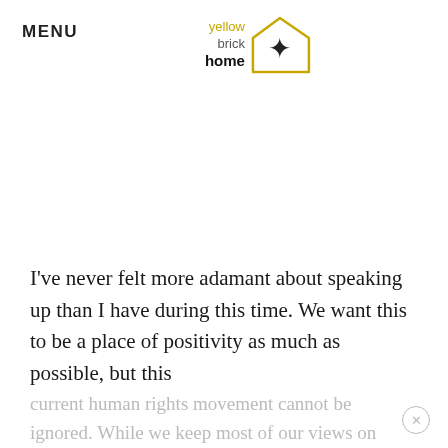MENU
[Figure (logo): Yellow Brick Home logo — text 'yellow brick home' with a house icon containing a star, in gold/dark colors]
I've never felt more adamant about speaking up than I have during this time. We want this to be a place of positivity as much as possible, but this current human rights movement cannot be ignored. While we keep most of our views on